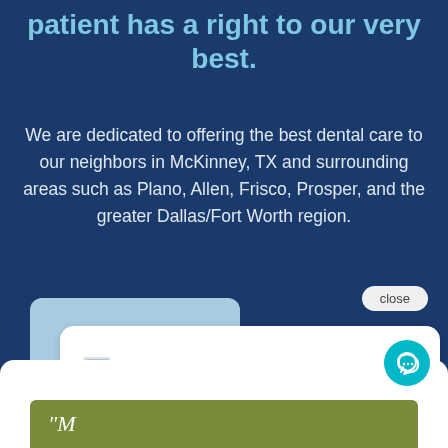patient has a right to our very best.
We are dedicated to offering the best dental care to our neighbors in McKinney, TX and surrounding areas such as Plano, Allen, Frisco, Prosper, and the greater Dallas/Fort Worth region.
[Figure (screenshot): Chat widget popup with a close button, a light blue background bubble, and a white foreground chat bubble containing a Texas-shaped logo icon and the text 'Hi there, have a question? Text us here.']
[Figure (screenshot): Bottom section showing a white panel with an olive/green bar containing italic cursive text beginning with a quotation mark, and a teal circular chat button with a speech bubble icon.]